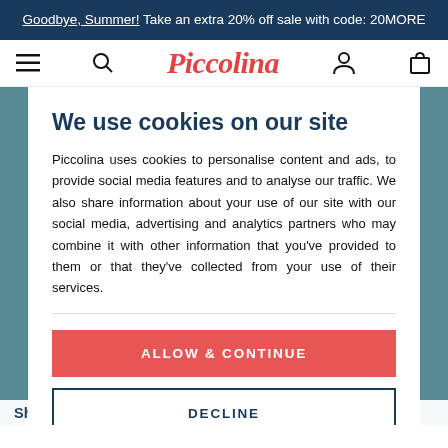Goodbye, Summer! Take an extra 20% off sale with code: 20MORE
[Figure (logo): Piccolina logo in red italic script font, with hamburger menu, search, user, and cart icons in navigation bar]
We use cookies on our site
Piccolina uses cookies to personalise content and ads, to provide social media features and to analyse our traffic. We also share information about your use of our site with our social media, advertising and analytics partners who may combine it with other information that you've provided to them or that they've collected from your use of their services.
ALLOW & CONTINUE
DECLINE
Shop in NEW Activism, Space and Botany themes!